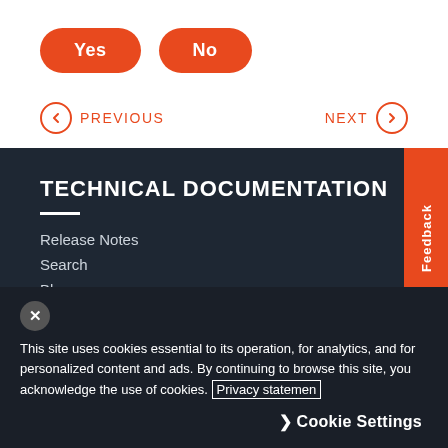[Figure (other): Two orange rounded buttons labeled Yes and No]
PREVIOUS
NEXT
TECHNICAL DOCUMENTATION
Release Notes
Search
Blog
This site uses cookies essential to its operation, for analytics, and for personalized content and ads. By continuing to browse this site, you acknowledge the use of cookies. Privacy statement
Cookie Settings